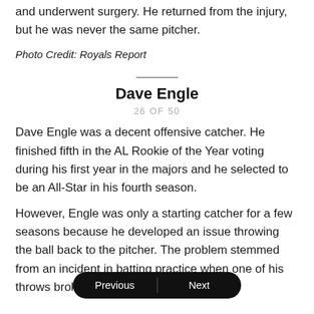and underwent surgery. He returned from the injury, but he was never the same pitcher.
Photo Credit: Royals Report
Dave Engle
26 OF 50
Dave Engle was a decent offensive catcher. He finished fifth in the AL Rookie of the Year voting during his first year in the majors and he selected to be an All-Star in his fourth season.
However, Engle was only a starting catcher for a few seasons because he developed an issue throwing the ball back to the pitcher. The problem stemmed from an incident in batting practice when one of his throws broke his pitcher's nose.